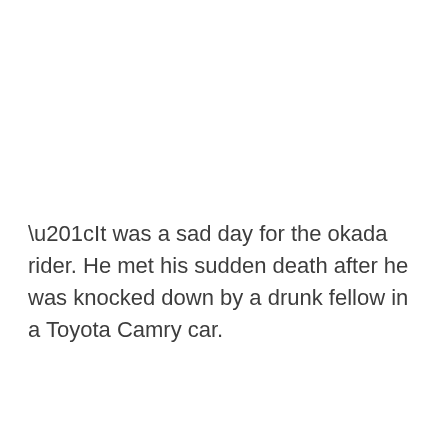“It was a sad day for the okada rider. He met his sudden death after he was knocked down by a drunk fellow in a Toyota Camry car.